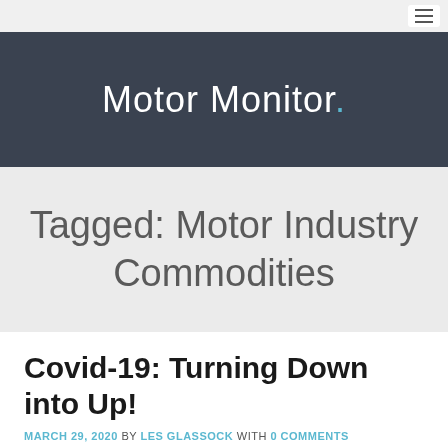Motor Monitor.
Tagged: Motor Industry Commodities
Covid-19: Turning Down into Up!
MARCH 29, 2020 by LES GLASSOCK with 0 COMMENTS